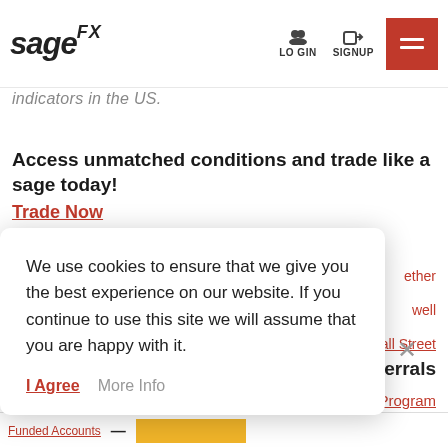[Figure (logo): SageFX logo in bold italic font with FX superscript]
LOGIN  SIGNUP
indicators in the US.
Access unmatched conditions and trade like a sage today!
Trade Now
We use cookies to ensure that we give you the best experience on our website. If you continue to use this site we will assume that you are happy with it.
I Agree   More Info
ether
well
Wall Street
Referrals
the Program
Funded Accounts
Funded Accounts  —